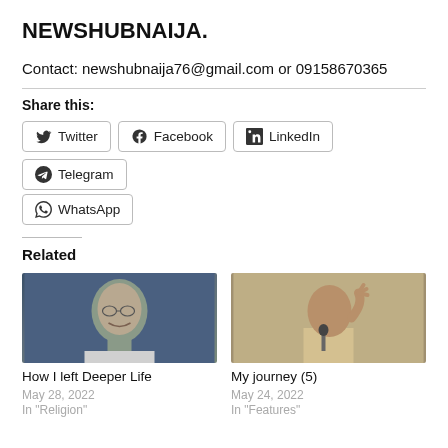NEWSHUBNAIJA.
Contact: newshubnaija76@gmail.com or 09158670365
Share this:
Twitter  Facebook  LinkedIn  Telegram  WhatsApp
Related
[Figure (photo): Portrait of an elderly man smiling, against a blue background]
How I left Deeper Life
May 28, 2022
In "Religion"
[Figure (photo): Man speaking at a microphone, wearing a beige suit]
My journey (5)
May 24, 2022
In "Features"